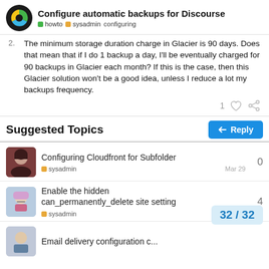Configure automatic backups for Discourse | howto | sysadmin | configuring
The minimum storage duration charge in Glacier is 90 days. Does that mean that if I do 1 backup a day, I'll be eventually charged for 90 backups in Glacier each month? If this is the case, then this Glacier solution won't be a good idea, unless I reduce a lot my backups frequency.
1 ♡ 🔗
Suggested Topics
Configuring Cloudfront for Subfolder | sysadmin | Mar 29 | 0
Enable the hidden can_permanently_delete site setting | sysadmin | 4
Email delivery configuration c...
32 / 32